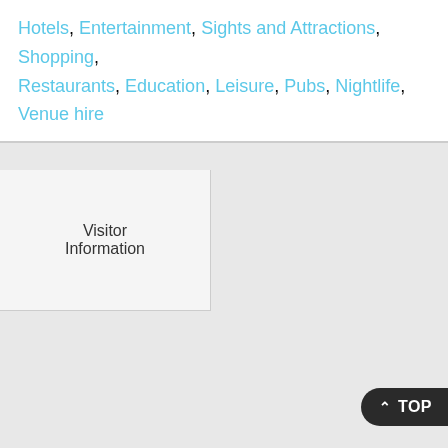Hotels, Entertainment, Sights and Attractions, Shopping, Restaurants, Education, Leisure, Pubs, Nightlife, Venue hire
Visitor Information